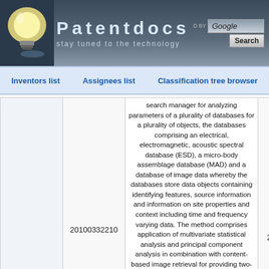[Figure (logo): Patentdocs website header with lightbulb logo, site name 'Patentdocs', tagline 'stay tuned to the technology', and Google search box with Search button]
Inventors list   Assignees list   Classification tree browser
|  | 20100332210 | search manager for analyzing parameters... | 12-30-2010 |
| --- | --- | --- | --- |
|  | 20100332210 | search manager for analyzing parameters of a plurality of databases for a plurality of objects, the databases comprising an electrical, electromagnetic, acoustic spectral database (ESD), a micro-body assemblage database (MAD) and a database of image data whereby the databases store data objects containing identifying features, source information and information on site properties and context including time and frequency varying data. The method comprises application of multivariate statistical analysis and principal component analysis in combination with content-based image retrieval for providing two-dimensional attributes of three dimensional objects, for example, via preferential image segmentation using a tree of shapes and to predict further properties of objects by means of k-means clustering and related methods. By way of example, a fire event and residual objects may be located and qualified such that, for ... | 12-30-2010 |